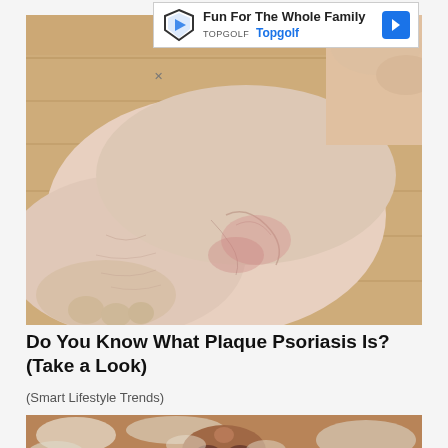[Figure (screenshot): Advertisement banner for Topgolf: 'Fun For The Whole Family' with Topgolf logo and blue navigation arrow]
[Figure (photo): Close-up photograph of a human foot/ankle showing skin condition with redness and visible veins, resting on a wooden floor background]
Do You Know What Plaque Psoriasis Is? (Take a Look)
(Smart Lifestyle Trends)
[Figure (photo): Close-up photograph of a face showing severe skin condition with flaking/scaling around the nose area]